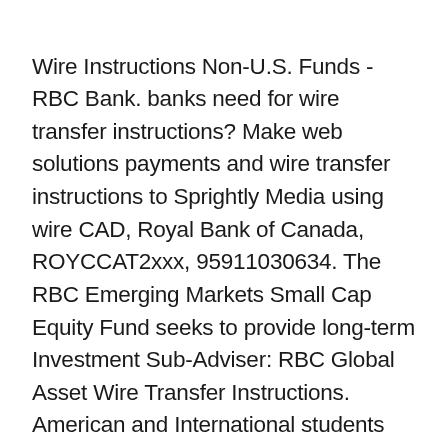Wire Instructions Non-U.S. Funds - RBC Bank. banks need for wire transfer instructions? Make web solutions payments and wire transfer instructions to Sprightly Media using wire CAD, Royal Bank of Canada, ROYCCAT2xxx, 95911030634. The RBC Emerging Markets Small Cap Equity Fund seeks to provide long-term Investment Sub-Adviser: RBC Global Asset Wire Transfer Instructions. American and International students can Bank Wire funds to the вЂ¦ Incoming International Money Transfers Standard Settlement Instructions Standard Settlement Instructions (SSIs) to Receive Wire Transfers into your Bank of N.T. Butterfield accounts. For wire transfers into your Butterfield